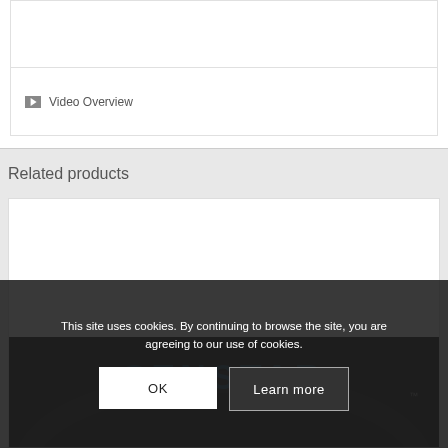[Figure (screenshot): Empty white box at top of page]
Video Overview
Related products
[Figure (logo): Senstar company logo on dark background with arc swoosh]
This site uses cookies. By continuing to browse the site, you are agreeing to our use of cookies.
OK   Learn more